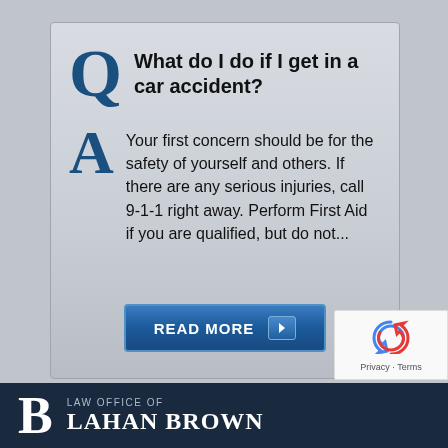Q What do I do if I get in a car accident?
Your first concern should be for the safety of yourself and others. If there are any serious injuries, call 9-1-1 right away. Perform First Aid if you are qualified, but do not...
READ MORE →
LAW OFFICE OF LAHAN BROWN